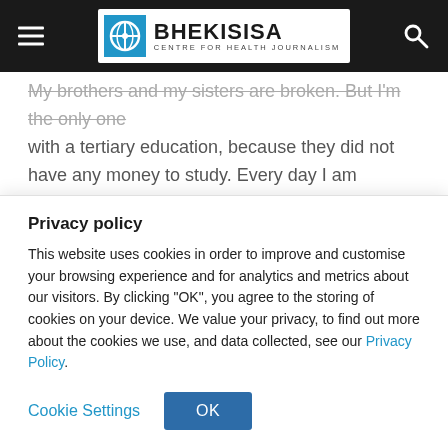Bhekisisa Centre for Health Journalism
My brothers and my sisters are broken. But I'm the only one with a tertiary education, because they did not have any money to study. Every day I am grateful that I got a scholarship, but they weren't so lucky," said Motlhabane. "The day that I graduated I asked all of them if they wanted to study, because I was in a position to pay for them. But it was too late. They said they were too old to go back to school."
Privacy policy
This website uses cookies in order to improve and customise your browsing experience and for analytics and metrics about our visitors. By clicking "OK", you agree to the storing of cookies on your device. We value your privacy, to find out more about the cookies we use, and data collected, see our Privacy Policy.
Cookie Settings   OK